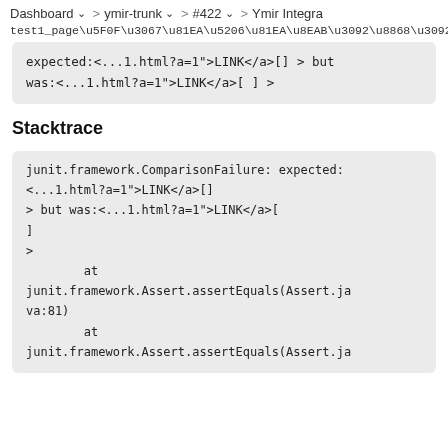Dashboard  ∨  >  ymir-trunk  ∨  >  #422  ∨  >  Ymir Integra
test1_page\u5F0F\u3067\u81EA\u5206\u81EA\u8EAB\u3092\u8868\u305
expected:<...1.html?a=1">LINK</a>[] > but
was:<...1.html?a=1">LINK</a>[ ] >
Stacktrace
junit.framework.ComparisonFailure: expected:
<...1.html?a=1">LINK</a>[]
> but was:<...1.html?a=1">LINK</a>[
]
>
        at
junit.framework.Assert.assertEquals(Assert.ja
va:81)
        at
junit.framework.Assert.assertEquals(Assert.ja